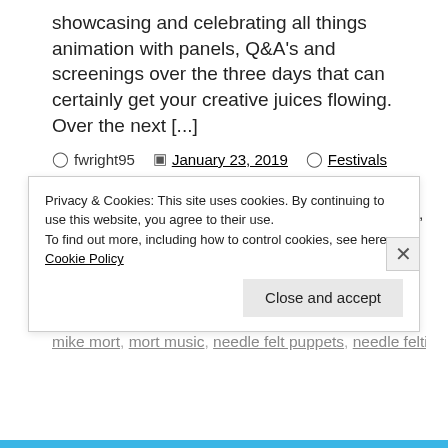showcasing and celebrating all things animation with panels, Q&A's and screenings over the three days that can certainly get your creative juices flowing. Over the next [...]
fwright95   January 23, 2019   Festivals
80s, action, animated feature film, animation, animation festival, ce magnifique gâteau!, chuck steel, chuck steel: night of the trampires, directors, feature films, festival, films, independant, james roels, mackinnon & saunders, maf, maf2018, manchester animation festival, marc, marc james roels, mike mort mort music needle felt puppets needle felting
Privacy & Cookies: This site uses cookies. By continuing to use this website, you agree to their use.
To find out more, including how to control cookies, see here:
Cookie Policy
Close and accept